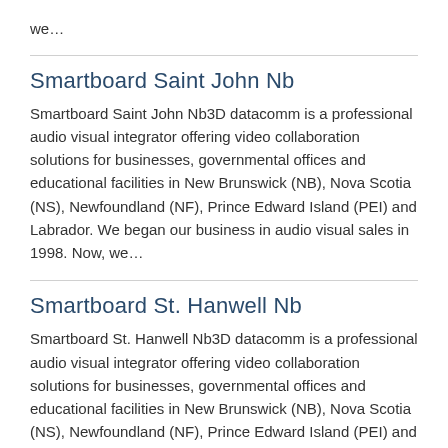we…
Smartboard Saint John Nb
Smartboard Saint John Nb3D datacomm is a professional audio visual integrator offering video collaboration solutions for businesses, governmental offices and educational facilities in New Brunswick (NB), Nova Scotia (NS), Newfoundland (NF), Prince Edward Island (PEI) and Labrador. We began our business in audio visual sales in 1998. Now, we…
Smartboard St. Hanwell Nb
Smartboard St. Hanwell Nb3D datacomm is a professional audio visual integrator offering video collaboration solutions for businesses, governmental offices and educational facilities in New Brunswick (NB), Nova Scotia (NS), Newfoundland (NF), Prince Edward Island (PEI) and Labrador.